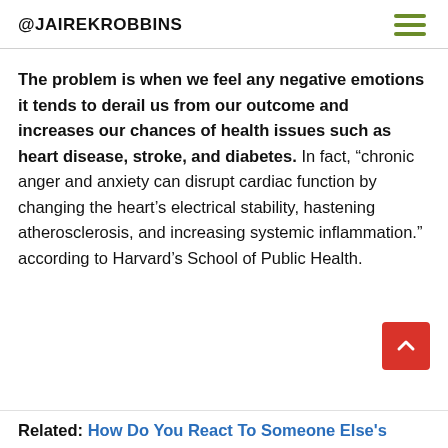@JAIREKROBBINS
The problem is when we feel any negative emotions it tends to derail us from our outcome and increases our chances of health issues such as heart disease, stroke, and diabetes. In fact, “chronic anger and anxiety can disrupt cardiac function by changing the heart’s electrical stability, hastening atherosclerosis, and increasing systemic inflammation.” according to Harvard’s School of Public Health.
Related: How Do You React To Someone Else's